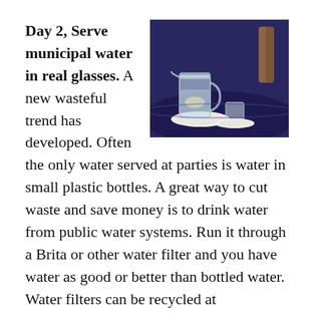Day 2, Serve municipal water in real glasses.  A new wasteful trend has developed. Often the only water served at parties is water in small plastic bottles.  A great way to cut waste and save money is to drink water from public water systems.  Run it through a Brita or other water filter and you have water as good or better than bottled water.  Water filters can be recycled at Terracycle.com
[Figure (photo): A glass pitcher of water and a glass on a white plate, on a table with a dark navy blue tablecloth.]
Day 1, Always use real plates, cups, glasses and silverware.  If you lack enough